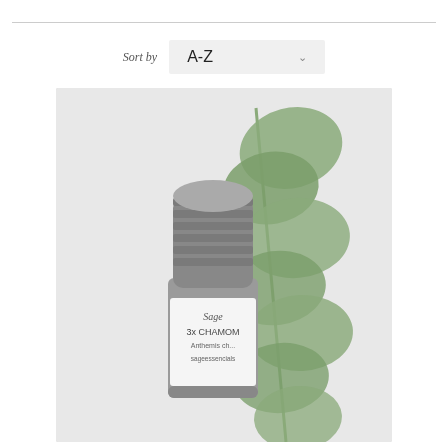Sort by
A-Z
[Figure (photo): A small dark glass bottle with a white label reading 'Sage 3x CHAMOM Anthemis... sageessencials' next to a eucalyptus branch with round green leaves, on a white background.]